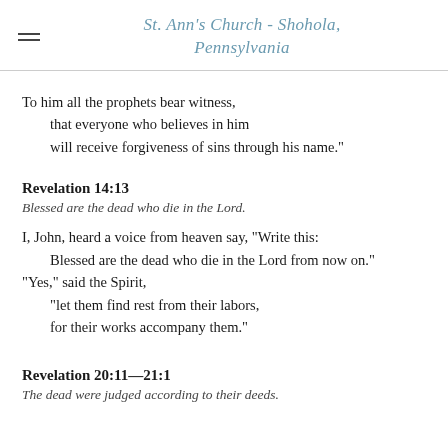St. Ann's Church - Shohola, Pennsylvania
To him all the prophets bear witness,
    that everyone who believes in him
    will receive forgiveness of sins through his name."
Revelation 14:13
Blessed are the dead who die in the Lord.
I, John, heard a voice from heaven say, "Write this:
    Blessed are the dead who die in the Lord from now on."
"Yes," said the Spirit,
    "let them find rest from their labors,
    for their works accompany them."
Revelation 20:11—21:1
The dead were judged according to their deeds.